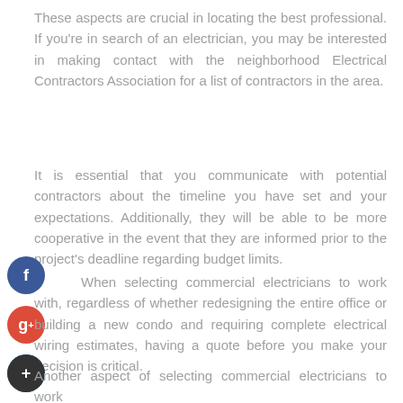These aspects are crucial in locating the best professional. If you're in search of an electrician, you may be interested in making contact with the neighborhood Electrical Contractors Association for a list of contractors in the area.
It is essential that you communicate with potential contractors about the timeline you have set and your expectations. Additionally, they will be able to be more cooperative in the event that they are informed prior to the project's deadline regarding budget limits.
When selecting commercial electricians to work with, regardless of whether redesigning the entire office or building a new condo and requiring complete electrical wiring estimates, having a quote before you make your decision is critical.
Another aspect of selecting commercial electricians to work